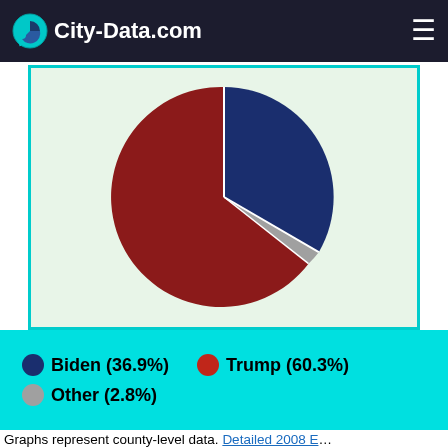City-Data.com
[Figure (pie-chart): Jefferson County, OK]
Biden (36.9%)   Trump (60.3%)   Other (2.8%)
Graphs represent county-level data. Detailed 2008 Election Results